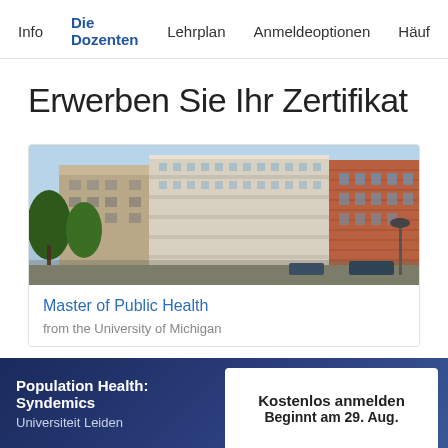Info  Die Dozenten  Lehrplan  Anmeldeoptionen  Häuf
Erwerben Sie Ihr Zertifikat
[Figure (photo): University of Michigan building exterior — multi-story brick and stone academic building with trees in foreground, photographed from street level]
Master of Public Health
from the University of Michigan
Population Health: Syndemics
Universiteit Leiden
Kostenlos anmelden
Beginnt am 29. Aug.